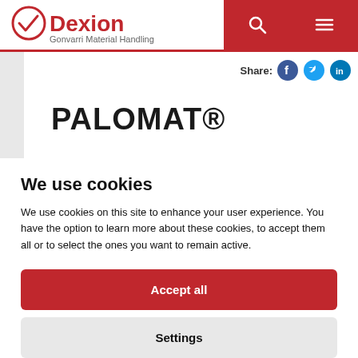Dexion - Gonvarri Material Handling
PALOMAT®
We use cookies
We use cookies on this site to enhance your user experience. You have the option to learn more about these cookies, to accept them all or to select the ones you want to remain active.
Accept all
Settings